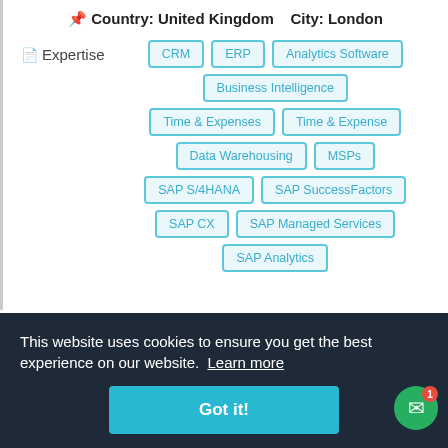Country: United Kingdom    City: London
Expertise
CRM
ERP
Analytics Software
Business Intelligence
Time & Expenses
Time & Expense
Data Warehousing
MSPs
SAP S/4HANA
SAP SuccessFactors
SAP CX
SAP Managed Services
SAP Analytics
This website uses cookies to ensure you get the best experience on our website. Learn more
Got it!
View Profile